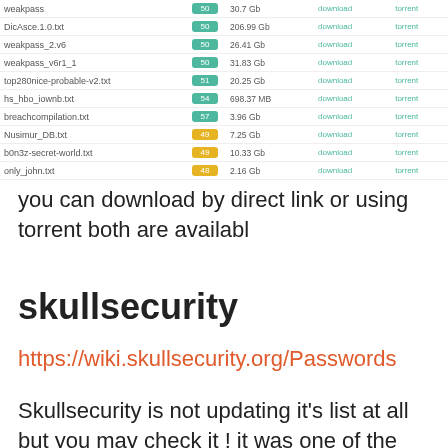| name | score | size |  |  |
| --- | --- | --- | --- | --- |
| weakpass | 50 | 30.7 Gb | download | torrent |
| DicAsce.1.0.txt | 50 | 206.99 Gb | download | torrent |
| weakpass_2.v6 | 50 | 26.41 Gb | download | torrent |
| weakpass_v6r1_1 | 50 | 31.83 Gb | download | torrent |
| top280nice-probable-v2.txt | 51 | 20.25 Gb | download | torrent |
| hs_hbo_iownb.txt | 54 | 698.37 MB | download | torrent |
| breachcompilation.txt | 57 | 3.96 Gb | download | torrent |
| Nusimur_DB.txt | 49 | 7.25 Gb | download | torrent |
| b0n3z-secret-world.txt | 49 | 10.33 Gb | download | torrent |
| only_john.txt | 48 | 2.16 Gb | download | torrent |
you can download by direct link or using torrent both are availabl
skullsecurity
https://wiki.skullsecurity.org/Passwords
Skullsecurity is not updating it's list at all but you may check it ! it was one of the best one